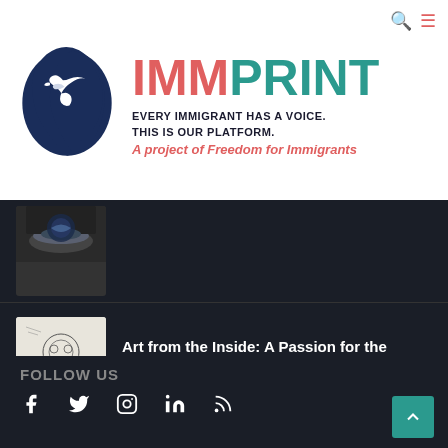[Figure (logo): IMMPRINT logo with dark blue silhouette of a head facing right with a bird (dove) inside, tagline 'Every Immigrant Has A Voice. This Is Our Platform.' and subtitle 'A project of Freedom for Immigrants']
[Figure (photo): Thumbnail image showing a bowl or plate with blue and white pattern, partially visible]
[Figure (illustration): Black and white detailed drawing thumbnail, appears to show Egyptian pharaoh-themed art]
Art from the Inside: A Passion for the Mysteries of the Pharaohs
March 19, 2021
FOLLOW US